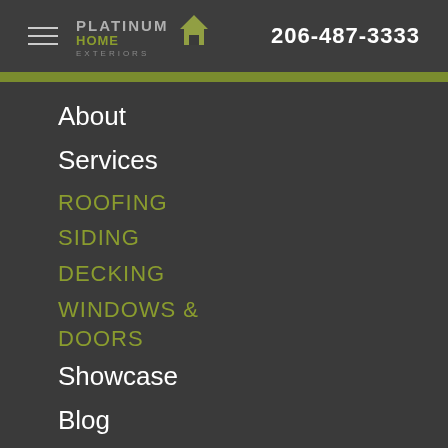[Figure (logo): Platinum Home Exteriors logo with house/roof triangle icon and text]
206-487-3333
About
Services
ROOFING
SIDING
DECKING
WINDOWS & DOORS
Showcase
Blog
Contact